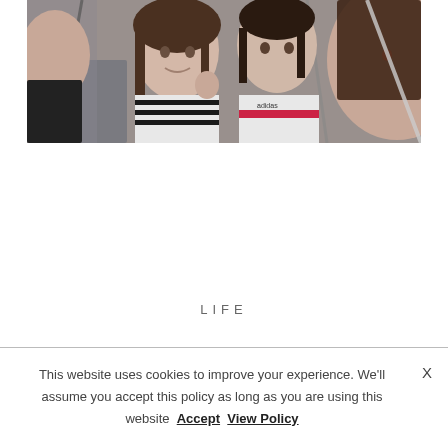[Figure (photo): A selfie photo of a family or group of people in a car, smiling and giving thumbs up. Multiple people visible including children and adults with dark hair.]
LIFE
This website uses cookies to improve your experience. We'll assume you accept this policy as long as you are using this website  Accept  View Policy  X